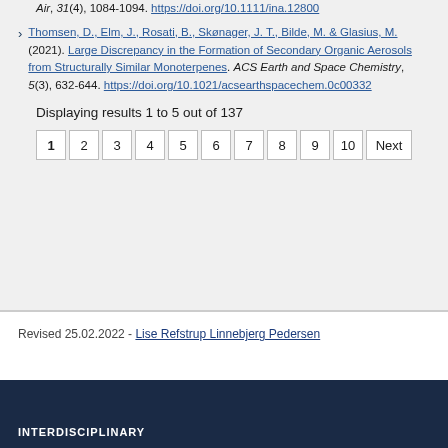Air, 31(4), 1084-1094. https://doi.org/10.1111/ina.12800
Thomsen, D., Elm, J., Rosati, B., Skønager, J. T., Bilde, M. & Glasius, M. (2021). Large Discrepancy in the Formation of Secondary Organic Aerosols from Structurally Similar Monoterpenes. ACS Earth and Space Chemistry, 5(3), 632-644. https://doi.org/10.1021/acsearthspacechem.0c00332
Displaying results 1 to 5 out of 137
1 2 3 4 5 6 7 8 9 10 Next
Revised 25.02.2022 - Lise Refstrup Linnebjerg Pedersen
INTERDISCIPLINARY